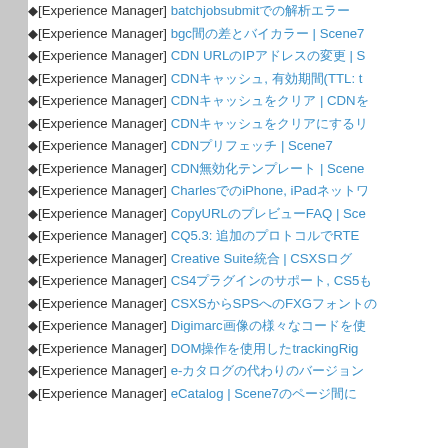◆[Experience Manager] batchjobsubmitでの解析エラー
◆[Experience Manager] bgc間の差とバイカラー | Scene7
◆[Experience Manager] CDN URLのIPアドレスの変更 | S
◆[Experience Manager] CDNキャッシュ, 有効期間(TTL: t
◆[Experience Manager] CDNキャッシュをクリア | CDNを
◆[Experience Manager] CDNキャッシュをクリアにするリ
◆[Experience Manager] CDNプリフェッチ | Scene7
◆[Experience Manager] CDN無効化テンプレート | Scene
◆[Experience Manager] CharlesでのiPhone, iPadネットワ
◆[Experience Manager] CopyURLのプレビューFAQ | Sce
◆[Experience Manager] CQ5.3: 追加のプロトコルでRTE
◆[Experience Manager] Creative Suite統合 | CSXSログ
◆[Experience Manager] CS4プラグインのサポート, CS5も
◆[Experience Manager] CSXSからSPSへのFXGフォントの
◆[Experience Manager] Digimarc画像の様々なコードを使
◆[Experience Manager] DOM操作を使用したtrackingRig
◆[Experience Manager] e-カタログの代わりのバージョン
◆[Experience Manager] eCatalog | Scene7のページ間に